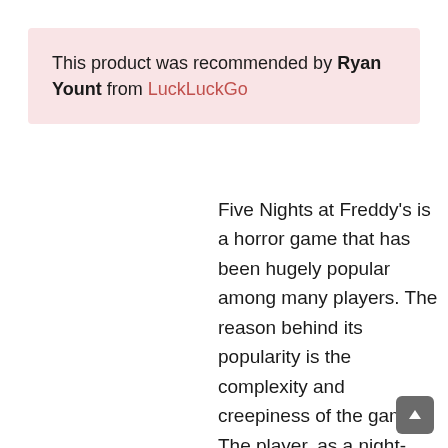This product was recommended by Ryan Yount from LuckLuckGo
Five Nights at Freddy's is a horror game that has been hugely popular among many players. The reason behind its popularity is the complexity and creepiness of the game. The player, as a night-time security guard, has to monitor the building